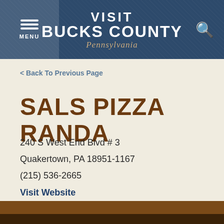VISIT BUCKS COUNTY Pennsylvania
< Back To Previous Page
SALS PIZZA RANDA
240 S West End Blvd # 3
Quakertown, PA 18951-1167
(215) 536-2665
Visit Website